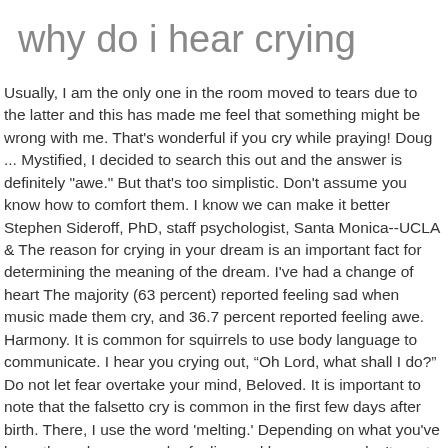why do i hear crying
Usually, I am the only one in the room moved to tears due to the latter and this has made me feel that something might be wrong with me. That's wonderful if you cry while praying! Doug ... Mystified, I decided to search this out and the answer is definitely "awe." But that's too simplistic. Don't assume you know how to comfort them. I know we can make it better Stephen Sideroff, PhD, staff psychologist, Santa Monica--UCLA & The reason for crying in your dream is an important fact for determining the meaning of the dream. I've had a change of heart The majority (63 percent) reported feeling sad when music made them cry, and 36.7 percent reported feeling awe. Harmony. It is common for squirrels to use body language to communicate. I hear you crying out, “Oh Lord, what shall I do?” Do not let fear overtake your mind, Beloved. It is important to note that the falsetto cry is common in the first few days after birth. There, I use the word 'melting.' Depending on what you've been through, you may be feeling sad because you don't want people to go through what you have. These are apples and pork chops, imho, and comparing them and then drawing